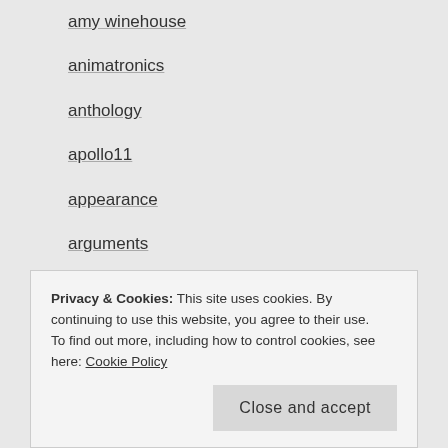amy winehouse
animatronics
anthology
apollo11
appearance
arguments
arles
Art
astrology
atlantic city
Privacy & Cookies: This site uses cookies. By continuing to use this website, you agree to their use.
To find out more, including how to control cookies, see here: Cookie Policy
beach